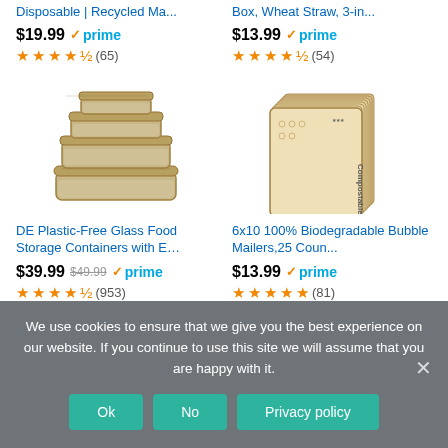Disposable | Recycled Ma...
Box, Wheat Straw, 3-in...
$19.99 prime (65)
$13.99 prime (54)
[Figure (photo): Stack of glass food storage containers with bamboo lids]
[Figure (photo): Stack of kraft bubble mailer envelopes labeled Compostable]
DE Plastic-Free Glass Food Storage Containers with E…
6x10 100% Biodegradable Bubble Mailers,25 Coun...
$39.99 $49.99 prime (953)
$13.99 prime (81)
We use cookies to ensure that we give you the best experience on our website. If you continue to use this site we will assume that you are happy with it.